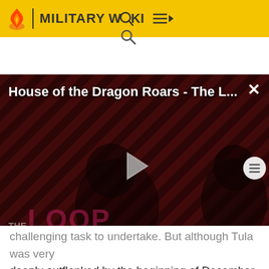MILITARY WIKI
[Figure (screenshot): Video player showing 'House of the Dragon Roars - The L...' with a play button, two figures in a dark striped background, THE LOOP branding, and NaN:NaN time display.]
challenging task to undertake. But although Tula was very deeply outflanked by the beginning of December, it never fell. In conjunction with 10th Army, 50th went on the offensive and drove Guderian's forces back from the southern approaches to Moscow.[12] In the initial phase, elements of the 50th overran one battalion of the elite